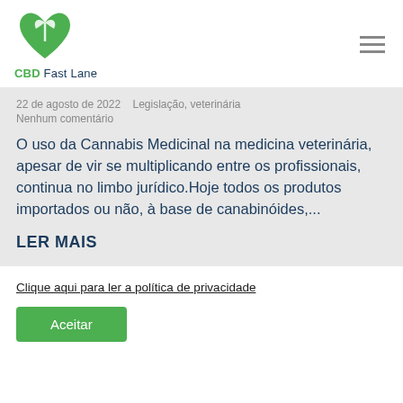[Figure (logo): CBD Fast Lane logo with green leaf/heart icon and text 'CBD Fast Lane']
22 de agosto de 2022    Legislação, veterinária
Nenhum comentário
O uso da Cannabis Medicinal na medicina veterinária, apesar de vir se multiplicando entre os profissionais, continua no limbo jurídico.Hoje todos os produtos importados ou não, à base de canabinóides,...
LER MAIS
Clique aqui para ler a política de privacidade
Aceitar